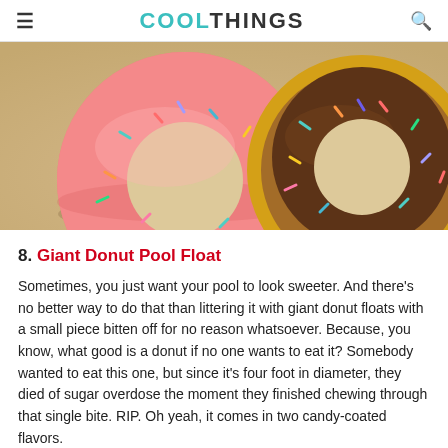COOLTHINGS
[Figure (photo): Two giant inflatable donut pool floats on a sandy background — one pink with rainbow sprinkles, one chocolate brown with rainbow sprinkles and a yellow ring.]
8. Giant Donut Pool Float
Sometimes, you just want your pool to look sweeter. And there's no better way to do that than littering it with giant donut floats with a small piece bitten off for no reason whatsoever. Because, you know, what good is a donut if no one wants to eat it? Somebody wanted to eat this one, but since it's four foot in diameter, they died of sugar overdose the moment they finished chewing through that single bite. RIP. Oh yeah, it comes in two candy-coated flavors.